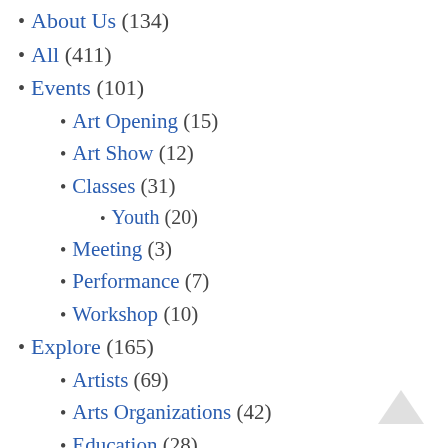About Us (134)
All (411)
Events (101)
Art Opening (15)
Art Show (12)
Classes (31)
Youth (20)
Meeting (3)
Performance (7)
Workshop (10)
Explore (165)
Artists (69)
Arts Organizations (42)
Education (28)
Gallery (30)
Atrium Gallery (10)
Healthcare (10)
Coronavirus (9)
Public Art (17)